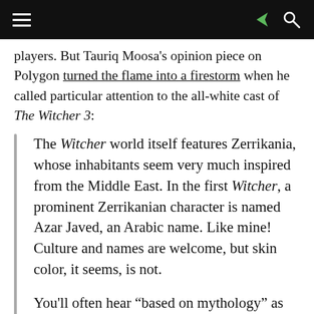[Navigation bar with hamburger menu, share icon, and search icon]
players. But Tauriq Moosa's opinion piece on Polygon turned the flame into a firestorm when he called particular attention to the all-white cast of The Witcher 3:
The Witcher world itself features Zerrikania, whose inhabitants seem very much inspired from the Middle East. In the first Witcher, a prominent Zerrikanian character is named Azar Javed, an Arabic name. Like mine! Culture and names are welcome, but skin color, it seems, is not.

You'll often hear “based on mythology” as well as “historically accurate,” in the same breath, even though it can't be both. If it's